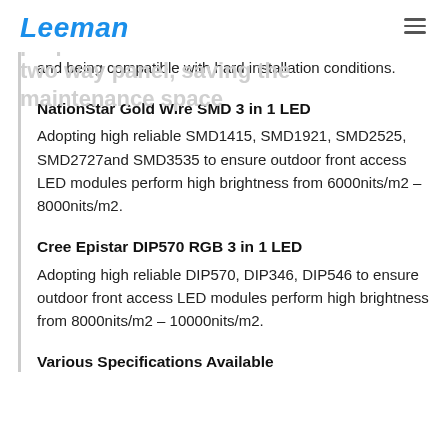Leeman
and being compatible with hard installation conditions.
NationStar Gold Wire SMD 3 in 1 LED
Adopting high reliable SMD1415, SMD1921, SMD2525, SMD2727and SMD3535 to ensure outdoor front access LED modules perform high brightness from 6000nits/m2 – 8000nits/m2.
Cree Epistar DIP570 RGB 3 in 1 LED
Adopting high reliable DIP570, DIP346, DIP546 to ensure outdoor front access LED modules perform high brightness from 8000nits/m2 – 10000nits/m2.
Various Specifications Available